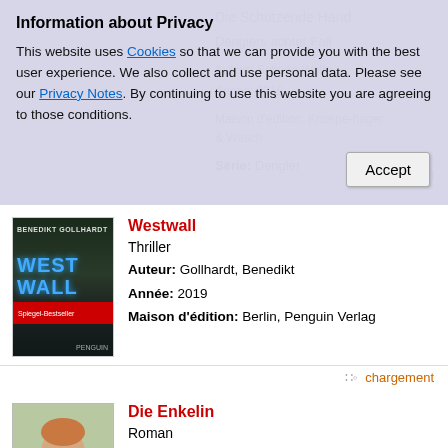Information about Privacy
This website uses Cookies so that we can provide you with the best user experience. We also collect and use personal data. Please see our Privacy Notes. By continuing to use this website you are agreeing to those conditions.
[Figure (screenshot): Background dimmed content showing book listing: Die Schutzende Hand, Denglers achter Fall, author, Maison d'edition Knospe hager & Witsch, Série: Dengler, with Accept button]
[Figure (photo): Westwall book cover - dark forest background with blue glowing title text WESTWALL, author BENEDIKT GOLLHARDT at top, red band near bottom]
Westwall
Thriller
Auteur: Gollhardt, Benedikt
Année: 2019
Maison d'édition: Berlin, Penguin Verlag
chargement
[Figure (photo): Die Enkelin book cover - green background with woman's face, author Bernhard Schlink, title Die Enkelin in italic at bottom white section]
Die Enkelin
Roman
Auteur: Schlink, Bernhard
Année: 2021
Maison d'édition: (cut off)